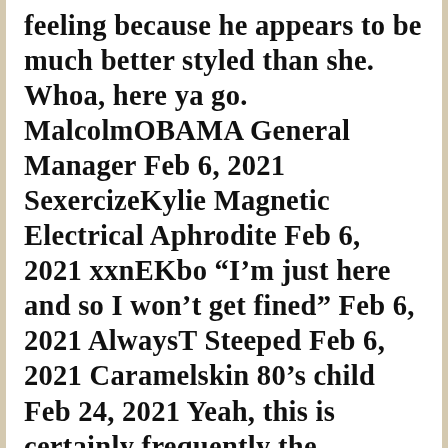feeling because he appears to be much better styled than she. Whoa, here ya go. MalcolmOBAMA General Manager Feb 6, 2021 SexercizeKylie Magnetic Electrical Aphrodite Feb 6, 2021 xxnEKbo “I’m just here and so I won’t get fined” Feb 6, 2021 AlwaysT Steeped Feb 6, 2021 Caramelskin 80’s child Feb 24, 2021 Yeah, this is certainly frequently the scenario that the